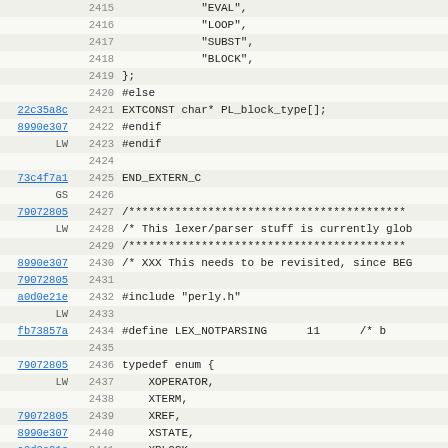Source code viewer showing lines 2415-2446 of a C/Perl source file with commit annotations
2415: "EVAL",
2416: "LOOP",
2417: "SUBST",
2418: "BLOCK",
2419: };
2420: #else
22c35a8c 2421: EXTCONST char* PL_block_type[];
8990e307 2422: #endif
LW 2423: #endif
2424:
73c4f7a1 2425: END_EXTERN_C
GS 2426:
79072805 2427: /***...
LW 2428: /* This lexer/parser stuff is currently glob
2429: /***...
8990e307 2430: /* XXX This needs to be revisited, since BEG
79072805 2431:
a0d0e21e 2432: #include "perly.h"
LW 2433:
fb73857a 2434: #define LEX_NOTPARSING    11    /* b
2435:
79072805 2436: typedef enum {
LW 2437:     XOPERATOR,
2438:     XTERM,
79072805 2439:     XREF,
8990e307 2440:     XSTATE,
a0d0e21e 2441:     XBLOCK,
09bef843 2442:     XATTRBLOCK,
SB 2443:     XATTRTERM,
a0d0e21e 2444:     XTERMBLOCK
79072805 2445: } expectation;
LW 2446: